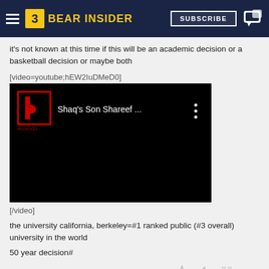BEAR INSIDER — SUBSCRIBE
it's not known at this time if this will be an academic decision or a basketball decision or maybe both
[video=youtube;hEW2IuDMeD0]
[Figure (screenshot): Embedded YouTube video thumbnail showing 'Shaq's Son Shareef ...' with a red/black logo on black background]
[/video]
the university california, berkeley=#1 ranked public (#3 overall) university in the world
50 year decision#
Shocky1  L    8:40p, 9/13/16